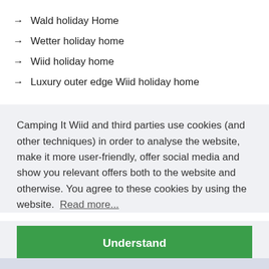→ Wald holiday Home
→ Wetter holiday home
→ Wiid holiday home
→ Luxury outer edge Wiid holiday home
Camping It Wiid and third parties use cookies (and other techniques) in order to analyse the website, make it more user-friendly, offer social media and show you relevant offers both to the website and otherwise. You agree to these cookies by using the website. Read more...